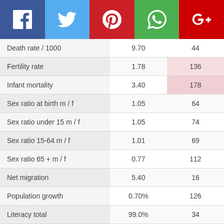[Figure (other): Social media sharing buttons bar: Facebook (blue), Twitter (light blue), Pinterest (red), WhatsApp (green), Google+ (dark red)]
|  |  |  |
| --- | --- | --- |
| Death rate / 1000 | 9.70 | 44 |
| Fertility rate | 1.78 | 136 |
| Infant mortality | 3.40 | 178 |
| Sex ratio at birth m / f | 1.05 | 64 |
| Sex ratio under 15 m / f | 1.05 | 74 |
| Sex ratio 15-64 m / f | 1.01 | 69 |
| Sex ratio 65 + m / f | 0.77 | 112 |
| Net migration | 5.40 | 16 |
| Population growth | 0.70% | 126 |
| Literacy total | 99.0% | 34 |
| Unemployment | 7.5% | 92 |